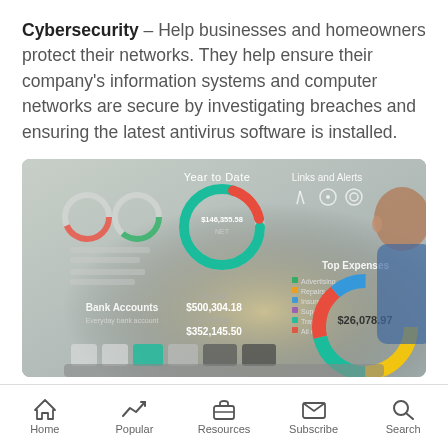Cybersecurity – Help businesses and homeowners protect their networks. They help ensure their company's information systems and computer networks are secure by investigating breaches and ensuring the latest antivirus software is installed.
[Figure (screenshot): A person viewed from behind looking at a financial dashboard screen showing donut charts, bank accounts, top expenses ($26,078.97), year to date figures ($500,304.18, $352,145.50, $146,355.58 NET), and links and alerts section.]
Home | Popular | Resources | Subscribe | Search